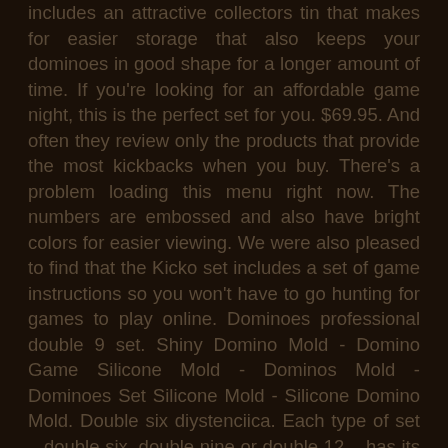includes an attractive collectors tin that makes for easier storage that also keeps your dominoes in good shape for a longer amount of time. If you're looking for an affordable game night, this is the perfect set for you. $69.95. And often they review only the products that provide the most kickbacks when you buy. There's a problem loading this menu right now. The numbers are embossed and also have bright colors for easier viewing. We were also pleased to find that the Kicko set includes a set of game instructions so you won't have to go hunting for games to play online. Dominoes professional double 9 set. Shiny Domino Mold - Domino Game Silicone Mold - Dominos Mold - Dominoes Set Silicone Mold - Silicone Domino Mold. Double six diystenciica. Each type of set – double six, double nine or double 12 – has its own set of rules and game modes, none of which are necessarily better than the other. This was made by Excalibur Electronics. Perfect gift for friends familly. Too many are simply trying to capitalize on affiliate revenue. For the most part, tiles are made from plastic today. With a double six set, you get 28 total individual tiles, enough to play with the original ruleset. WE Games Double Nine Dominoes - Ivory Tiles, Thick Size. They're thick and durable, which makes them perfect for playing traditional games of dominoes or stacking and knocking over. The Kicko Double Six set of dominoes brings tradition to the table with its classic design. It's a